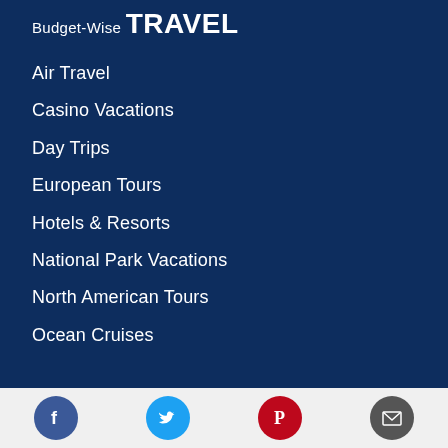Budget-Wise
TRAVEL
Air Travel
Casino Vacations
Day Trips
European Tours
Hotels & Resorts
National Park Vacations
North American Tours
Ocean Cruises
Social icons: Facebook, Twitter, Pinterest, Email